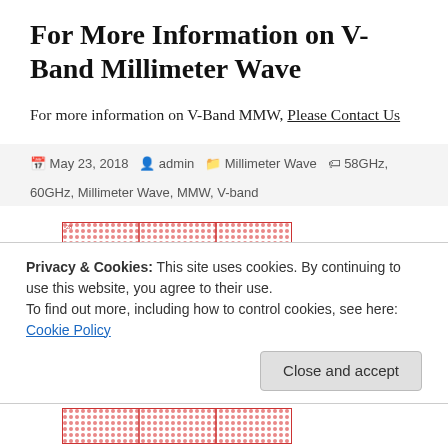For More Information on V-Band Millimeter Wave
For more information on V-Band MMW, Please Contact Us
May 23, 2018  admin  Millimeter Wave  58GHz, 60GHz, Millimeter Wave, MMW, V-band
[Figure (illustration): Red hatched/dotted rectangular pattern image, partially visible]
Privacy & Cookies: This site uses cookies. By continuing to use this website, you agree to their use.
To find out more, including how to control cookies, see here: Cookie Policy
[Figure (illustration): Red hatched/dotted rectangular pattern image, bottom strip partially visible]